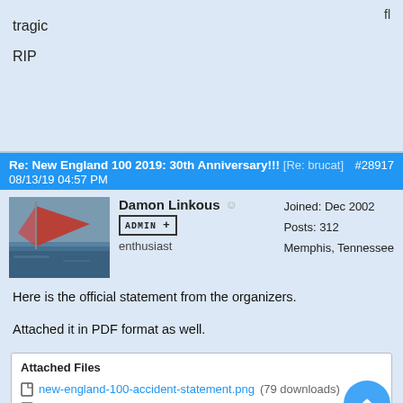fl
tragic
RIP
Re: New England 100 2019: 30th Anniversary!!! [Re: brucat]  #28917308/13/19 04:57 PM
Damon Linkous  ADMIN+  enthusiast  Joined: Dec 2002  Posts: 312  Memphis, Tennessee
Here is the official statement from the organizers.

Attached it in PDF format as well.
Attached Files
new-england-100-accident-statement.png (79 downloads)
2019NE100AccidentStatement13Aug19.pdf (10 downloads)